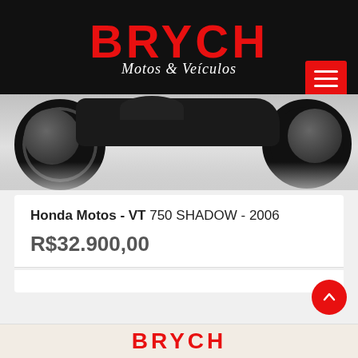BRYCH Motos & Veículos
[Figure (photo): Motorcycle photo showing two wheels and body on a light grey background]
Honda Motos - VT 750 SHADOW - 2006
R$32.900,00
24.596
Manual
2006
Gasolina
[Figure (logo): BRYCH logo in red on light background at page bottom]